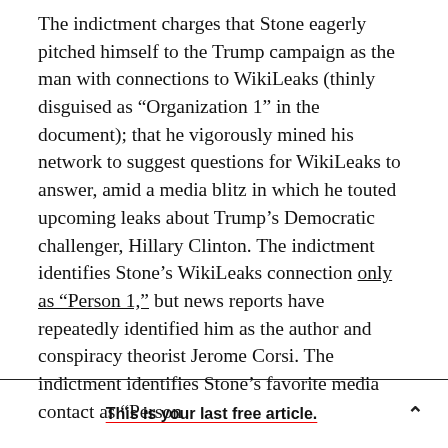The indictment charges that Stone eagerly pitched himself to the Trump campaign as the man with connections to WikiLeaks (thinly disguised as “Organization 1” in the document); that he vigorously mined his network to suggest questions for WikiLeaks to answer, amid a media blitz in which he touted upcoming leaks about Trump’s Democratic challenger, Hillary Clinton. The indictment identifies Stone’s WikiLeaks connection only as “Person 1,” but news reports have repeatedly identified him as the author and conspiracy theorist Jerome Corsi. The indictment identifies Stone’s favorite media contact as “Person
This is your last free article.